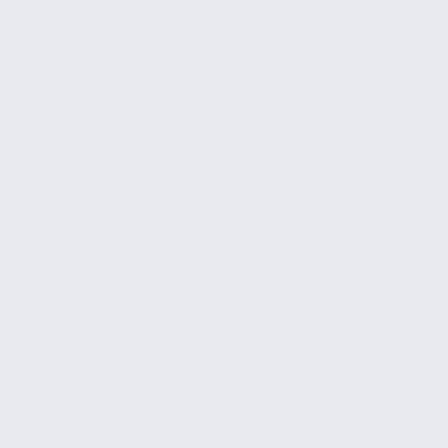called an ovum or egg (or serpentine tadpole type—ca chromosomes. They are eith the sperm cell determining t fertilizes an egg, the resultin a Y chromosome, then the r chromosomes, sex chromos the hereditary information. C denoted by the letters XX an
[Figure (illustration): Female symbol (Venus symbol) with circle and cross, labeled Eve / Even / Female, alongside chromosome count: 23 — 22 autosomes, 1 sex chromosome]
When they merge, a child be first cell splits into two more human being within the wom moment the zygote implants conception. Beyond the eigh human is then called a foetu